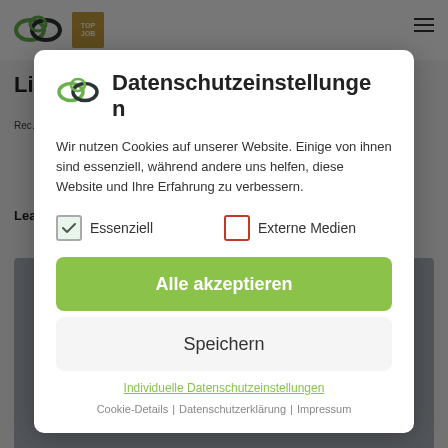[Figure (screenshot): Website background showing logo, TOP JOB badge, hamburger menu, partial page title 'Lin...', partial body text, 'Lea...' section header, and a photo of a person]
Datenschutzeinstellungen
Wir nutzen Cookies auf unserer Website. Einige von ihnen sind essenziell, während andere uns helfen, diese Website und Ihre Erfahrung zu verbessern.
Essenziell
Externe Medien
Alle akzeptieren
Speichern
Individuelle Datenschutzeinstellungen
Cookie-Details | Datenschutzerklärung | Impressum